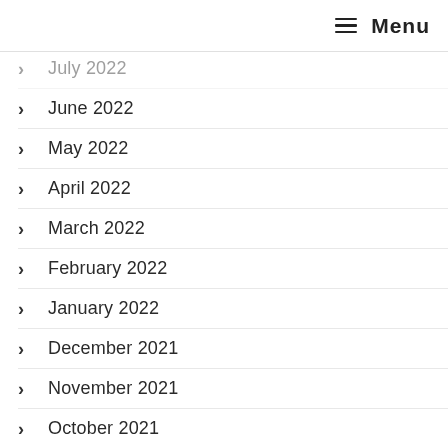≡ Menu
July 2022
June 2022
May 2022
April 2022
March 2022
February 2022
January 2022
December 2021
November 2021
October 2021
September 2021
August 2021